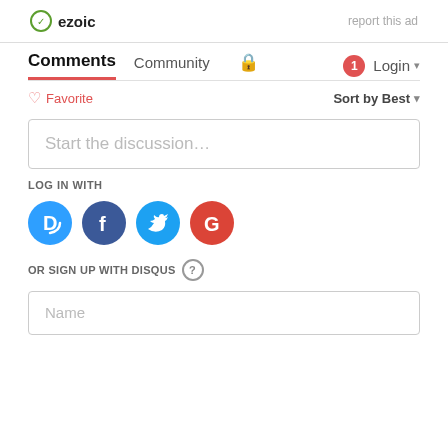[Figure (logo): Ezoic logo with green checkmark icon and bold ezoic text, plus 'report this ad' link on the right]
Comments  Community  🔒  1  Login ▾
♡ Favorite   Sort by Best ▾
Start the discussion…
LOG IN WITH
[Figure (illustration): Four social login circles: Disqus (D, blue), Facebook (f, dark blue), Twitter (bird, light blue), Google (G, red)]
OR SIGN UP WITH DISQUS ?
Name